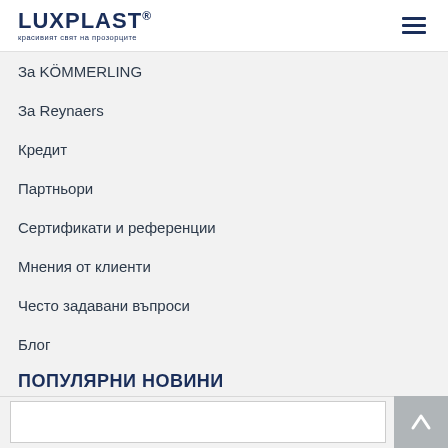LUXPLAST® красивият свят на прозорците
За KÖMMERLING
За Reynaers
Кредит
Партньори
Сертификати и референции
Мнения от клиенти
Често задавани въпроси
Блог
ПОПУЛЯРНИ НОВИНИ